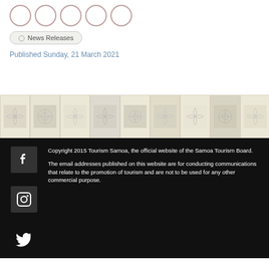[Figure (illustration): Row of circular decorative icons/avatars at top]
News Releases
Published Sunday, 21 March 2021
[Figure (illustration): Decorative tile band with floral/geometric patterns in beige and grey]
[Figure (illustration): Social media icons: Facebook, Instagram, Twitter on black background]
Copyright 2015 Tourism Samoa, the official website of the Samoa Tourism Board.
The email addresses published on this website are for conducting communications that relate to the promotion of tourism and are not to be used for any other commercial purpose.